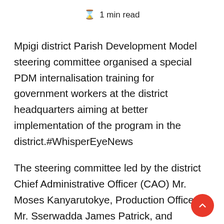⌛ 1 min read
Mpigi district Parish Development Model steering committee organised a special PDM internalisation training for government workers at the district headquarters aiming at better implementation of the program in the district.#WhisperEyeNews
The steering committee led by the district Chief Administrative Officer (CAO) Mr. Moses Kanyarutokye, Production Officer Mr. Sserwadda James Patrick, and Commercial Officer Mr. Kazib Ronald led the training breaking down key aspects